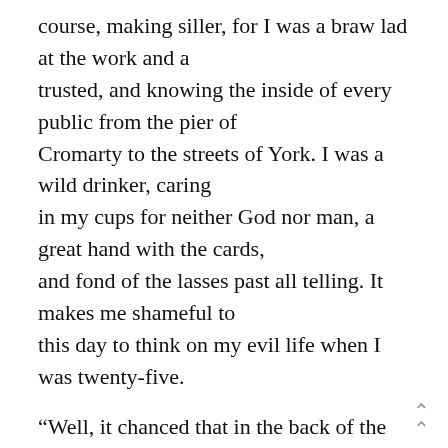course, making siller, for I was a braw lad at the work and a trusted, and knowing the inside of every public from the pier of Cromarty to the streets of York. I was a wild drinker, caring in my cups for neither God nor man, a great hand with the cards, and fond of the lasses past all telling. It makes me shameful to this day to think on my evil life when I was twenty-five.
“Well, it chanced that in the back of the month of September I found myself in the city of Edinburgh with a flock of fifty sheep